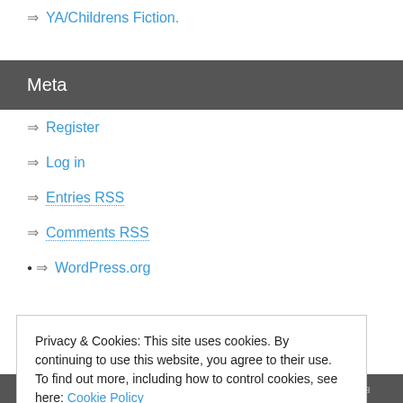YA/Childrens Fiction.
Meta
Register
Log in
Entries RSS
Comments RSS
WordPress.org
Privacy & Cookies: This site uses cookies. By continuing to use this website, you agree to their use.
To find out more, including how to control cookies, see here: Cookie Policy
Lorem ipsum dolor sit amet, consectetur adipiscing elit. Nulla massa